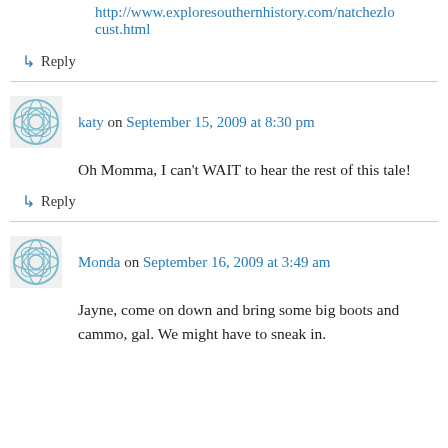http://www.exploresouthernhistory.com/natchezlocust.html
↳ Reply
katy on September 15, 2009 at 8:30 pm
Oh Momma, I can't WAIT to hear the rest of this tale!
↳ Reply
Monda on September 16, 2009 at 3:49 am
Jayne, come on down and bring some big boots and cammo, gal. We might have to sneak in.